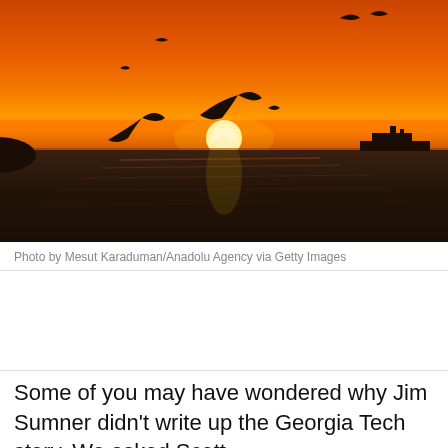[Figure (photo): Dramatic sunset over the sea with silhouettes of seagulls in flight and a ship on the horizon. Sky is vivid orange and red, water is dark.]
Photo by Mesut Karaduman/Anadolu Agency via Getty Images
Some of you may have wondered why Jim Sumner didn't write up the Georgia Tech story. We asked Scott